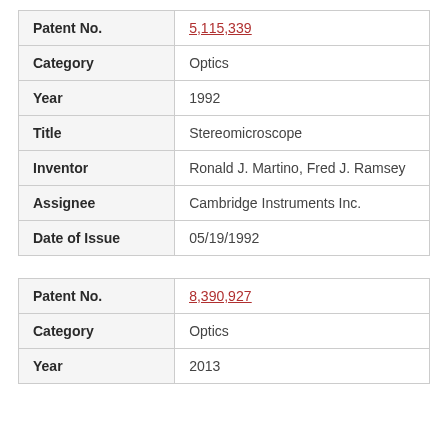| Field | Value |
| --- | --- |
| Patent No. | 5,115,339 |
| Category | Optics |
| Year | 1992 |
| Title | Stereomicroscope |
| Inventor | Ronald J. Martino, Fred J. Ramsey |
| Assignee | Cambridge Instruments Inc. |
| Date of Issue | 05/19/1992 |
| Field | Value |
| --- | --- |
| Patent No. | 8,390,927 |
| Category | Optics |
| Year | 2013 |